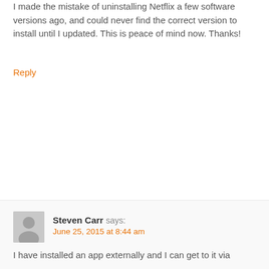I made the mistake of uninstalling Netflix a few software versions ago, and could never find the correct version to install until I updated. This is peace of mind now. Thanks!
Reply
Steven Carr says:
June 25, 2015 at 8:44 am
I have installed an app externally and I can get to it via